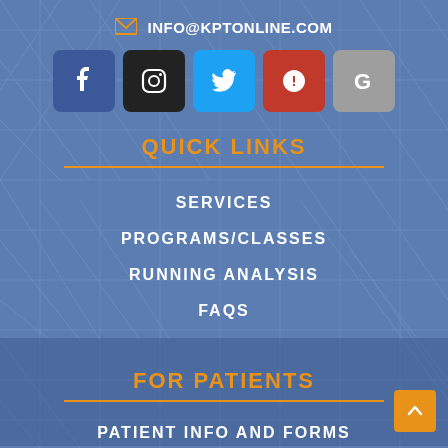INFO@KPTONLINE.COM
[Figure (illustration): Social media icons: Facebook, Instagram, Twitter, Yelp, Google]
QUICK LINKS
SERVICES
PROGRAMS/CLASSES
RUNNING ANALYSIS
FAQS
FOR PATIENTS
PATIENT INFO AND FORMS